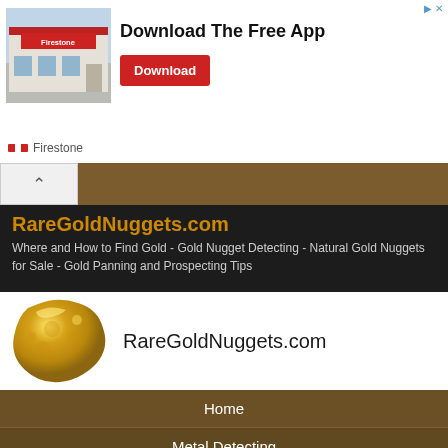[Figure (screenshot): Firestone app advertisement banner with store photo, 'Download The Free App' text, and Download button]
RareGoldNuggets.com
Where and How to Find Gold - Gold Nugget Detecting - Natural Gold Nuggets for Sale - Gold Panning and Prospecting Tips
[Figure (logo): Gold nugget image alongside RareGoldNuggets.com text logo]
Home
Metal Detecting
Gold Prospecting
Lost Treasures
Gold Maps